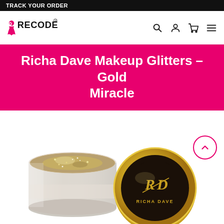TRACK YOUR ORDER
[Figure (logo): Recode brand logo with stylized female figure and registered trademark symbol]
Richa Dave Makeup Glitters - Gold Miracle
[Figure (photo): Two glitter containers: open jar with gold/silver glitter on the left and gold Richa Dave branded lid on the right]